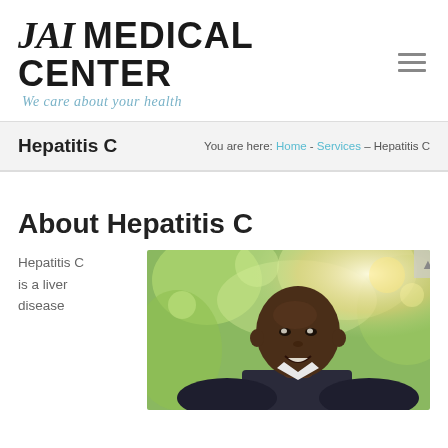JAI MEDICAL CENTER – We care about your health
Hepatitis C
You are here: Home - Services - Hepatitis C
About Hepatitis C
Hepatitis C is a liver disease
[Figure (photo): Outdoor photo of a smiling bald Black man with green bokeh background in sunlight]